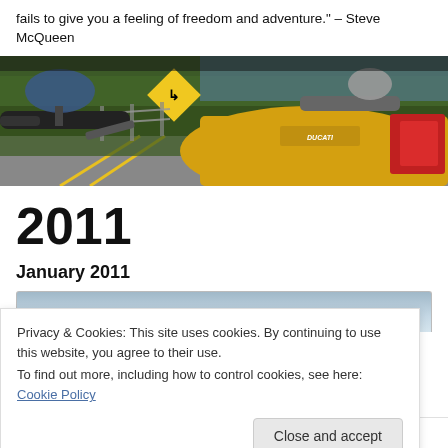fails to give you a feeling of freedom and adventure." – Steve McQueen
[Figure (photo): Close-up photo of a yellow Ducati motorcycle from the rider's perspective, showing handlebars, mirrors, fairing, and tail light, with a road and green foliage in the background and a yellow curve warning sign visible.]
2011
January 2011
[Figure (photo): Partial thumbnail of a blog post card with a light blue/grey gradient header area.]
Privacy & Cookies: This site uses cookies. By continuing to use this website, you agree to their use.
To find out more, including how to control cookies, see here: Cookie Policy
Close and accept